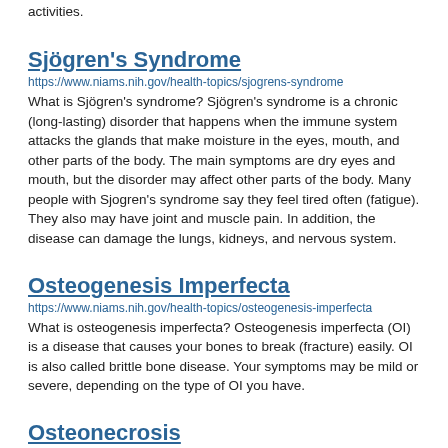activities.
Sjögren's Syndrome
https://www.niams.nih.gov/health-topics/sjogrens-syndrome
What is Sjögren's syndrome? Sjögren's syndrome is a chronic (long-lasting) disorder that happens when the immune system attacks the glands that make moisture in the eyes, mouth, and other parts of the body. The main symptoms are dry eyes and mouth, but the disorder may affect other parts of the body. Many people with Sjogren's syndrome say they feel tired often (fatigue). They also may have joint and muscle pain. In addition, the disease can damage the lungs, kidneys, and nervous system.
Osteogenesis Imperfecta
https://www.niams.nih.gov/health-topics/osteogenesis-imperfecta
What is osteogenesis imperfecta? Osteogenesis imperfecta (OI) is a disease that causes your bones to break (fracture) easily. OI is also called brittle bone disease. Your symptoms may be mild or severe, depending on the type of OI you have.
Osteonecrosis
https://www.niams.nih.gov/health-topics/osteonecrosis
What is osteonecrosis? Osteonecrosis is a disease of list...all the